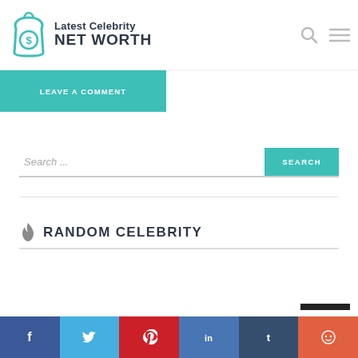Latest Celebrity NET WORTH
LEAVE A COMMENT
Search ...
SEARCH
RANDOM CELEBRITY